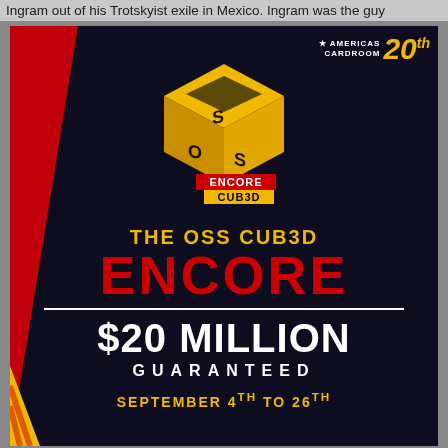Ingram out of his Trotskyist exile in Mexico. Ingram was the guy
[Figure (infographic): Americas Cardroom OSS CUB3D Encore promotional advertisement. Dark background with red diagonal stripe on left, 3D cube logo in gold at top center with ENCORE and CUB3D labels. Text reads: THE OSS CUB3D ENCORE, $20 MILLION GUARANTEED, SEPTEMBER 4TH TO 26TH. Americas Cardroom 20th anniversary logo in top right corner.]